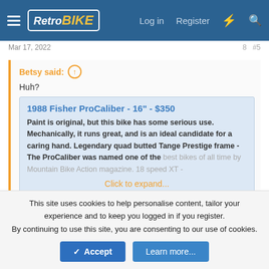[Figure (screenshot): RetroBike website navigation bar with logo, Log in, Register, and icon links]
Mar 17, 2022
Betsy said:
Huh?
1988 Fisher ProCaliber - 16" - $350
Paint is original, but this bike has some serious use. Mechanically, it runs great, and is an ideal candidate for a caring hand. Legendary quad butted Tange Prestige frame - The ProCaliber was named one of the best bikes of all time by Mountain Bike Action magazine. 18 speed XT -
Click to expand...
The photos have gone.
Betsy
This site uses cookies to help personalise content, tailor your experience and to keep you logged in if you register.
By continuing to use this site, you are consenting to our use of cookies.
Accept
Learn more...